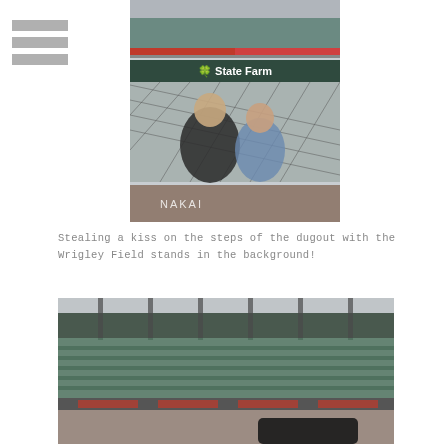[Figure (photo): Navigation menu icon (three horizontal bars)]
[Figure (photo): Two people sitting on the steps of the dugout at Wrigley Field, with chain-link fencing and State Farm advertising banners visible in the background stands.]
Stealing a kiss on the steps of the dugout with the Wrigley Field stands in the background!
[Figure (photo): Interior view of Wrigley Field baseball stadium showing the green tiered seating stands, structural columns, and advertising banners along the outfield wall.]